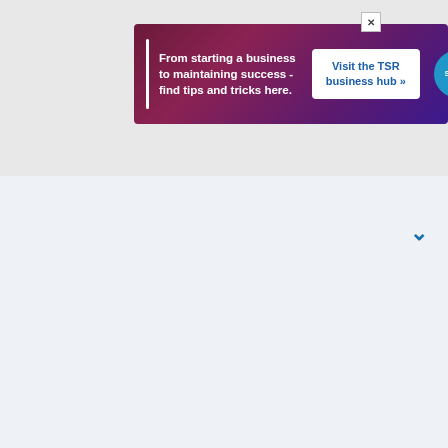[Figure (screenshot): Advertisement banner for The Student Room business hub. Dark purple/maroon gradient background with white left bar accent. Text reads 'From starting a business to maintaining success - find tips and tricks here.' with a white button 'Visit the TSR business hub »' and The Student Room logo circle. X close button in top right corner.]
[Figure (screenshot): The Student Room website navigation bar in blue/teal gradient. Contains TSR logo on left, edit/compose icon, outlined pill button, yellow pill button, search circle icon, and hamburger menu lines on right.]
[Figure (screenshot): Main content area of The Student Room webpage, light blue-grey background, mostly blank/loading. A blue chevron/down arrow in the upper right area.]